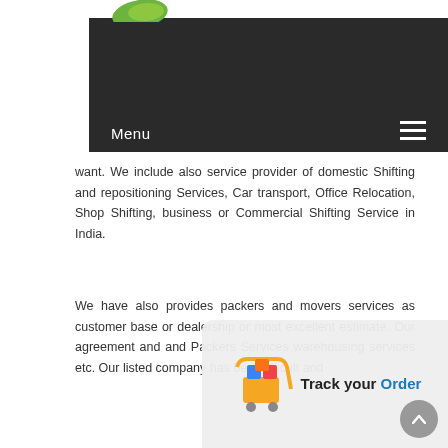[Figure (screenshot): Dark navigation bar with 'Menu' text on left and hamburger icon on right, with green leaf logo partially visible above]
want. We include also service provider of domestic Shifting and repositioning Services, Car transport, Office Relocation, Shop Shifting, business or Commercial Shifting Service in India.
We have also provides packers and movers services as customer base or dealership or most excellent estimate. Our agreement and and Packers Services warehousing services etc. Our listed company has best difficult and
[Figure (logo): Track your Order logo with shopping cart icon and text 'Track your Order' in bold]